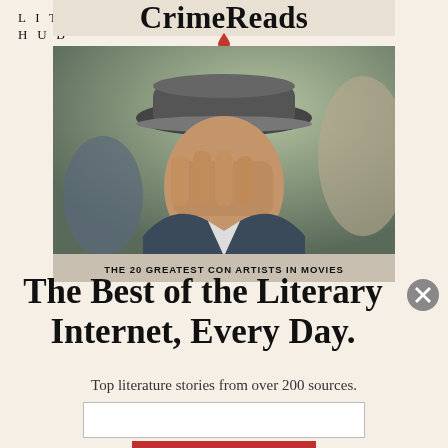LIT
HUB
[Figure (photo): Screenshot of a Lit Hub / CrimeReads webpage showing a man in a fedora hat covering his face with his hand, with a partially visible CrimeReads banner at the top and a caption bar reading 'THE 20 GREATEST CON ARTISTS IN MOVIES']
The Best of the Literary Internet, Every Day.
Top literature stories from over 200 sources.
SUBSCRIBE